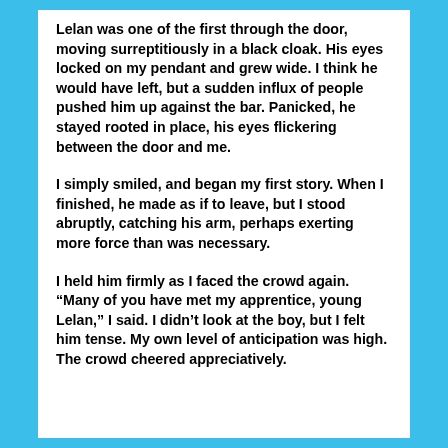Lelan was one of the first through the door, moving surreptitiously in a black cloak. His eyes locked on my pendant and grew wide. I think he would have left, but a sudden influx of people pushed him up against the bar. Panicked, he stayed rooted in place, his eyes flickering between the door and me.
I simply smiled, and began my first story. When I finished, he made as if to leave, but I stood abruptly, catching his arm, perhaps exerting more force than was necessary.
I held him firmly as I faced the crowd again. “Many of you have met my apprentice, young Lelan,” I said. I didn’t look at the boy, but I felt him tense. My own level of anticipation was high. The crowd cheered appreciatively.